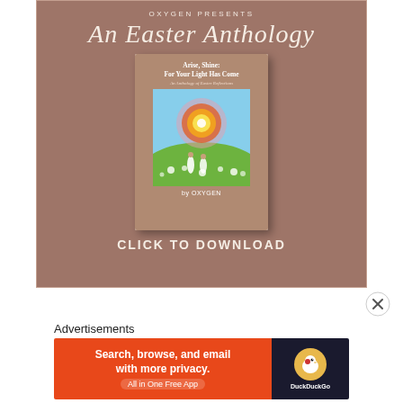[Figure (illustration): Advertisement for 'An Easter Anthology' by Oxygen. Brownish-mauve background with serif title 'An Easter Anthology', a 3D book cover showing 'Arise, Shine: For Your Light Has Come' with an illustration of two figures in a flower field under a glowing sun, and 'CLICK TO DOWNLOAD' text at the bottom.]
[Figure (illustration): Close X button circle icon for dismissing ad.]
Advertisements
[Figure (illustration): DuckDuckGo advertisement: orange left panel with 'Search, browse, and email with more privacy. All in One Free App', dark right panel with DuckDuckGo duck logo.]